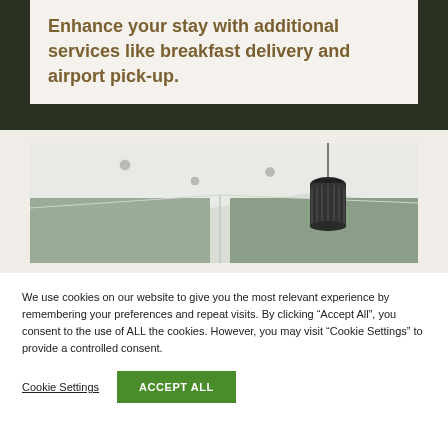Enhance your stay with additional services like breakfast delivery and airport pick-up.
[Figure (photo): Interior room photo showing ceiling corner with a modern black pendant light fixture hanging from white ceiling against sage green walls]
We use cookies on our website to give you the most relevant experience by remembering your preferences and repeat visits. By clicking “Accept All”, you consent to the use of ALL the cookies. However, you may visit “Cookie Settings” to provide a controlled consent.
Cookie Settings   ACCEPT ALL